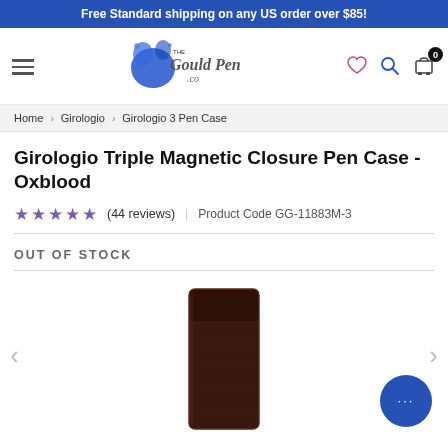Free Standard shipping on any US order over $85!
[Figure (logo): The Gould Pen Co logo with blue ink splash]
Home > Girologio > Girologio 3 Pen Case
Girologio Triple Magnetic Closure Pen Case - Oxblood
★★★★★ (44 reviews) | Product Code GG-11883M-3
OUT OF STOCK
[Figure (photo): Oxblood dark red-brown leather pen case, upright, partially visible at bottom of page]